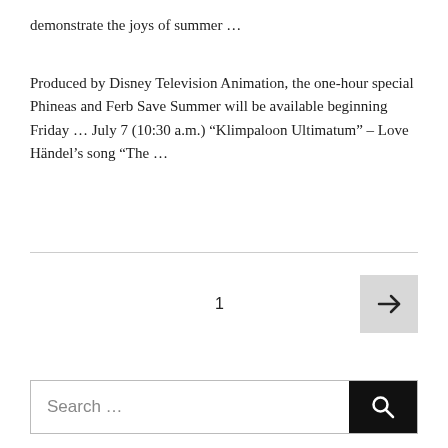demonstrate the joys of summer …
Produced by Disney Television Animation, the one-hour special Phineas and Ferb Save Summer will be available beginning Friday … July 7 (10:30 a.m.) “Klimpaloon Ultimatum” – Love Händel’s song “The …
1
[Figure (other): Next page arrow button (right arrow on grey background)]
[Figure (other): Search bar with search icon button]
CATEGORIES